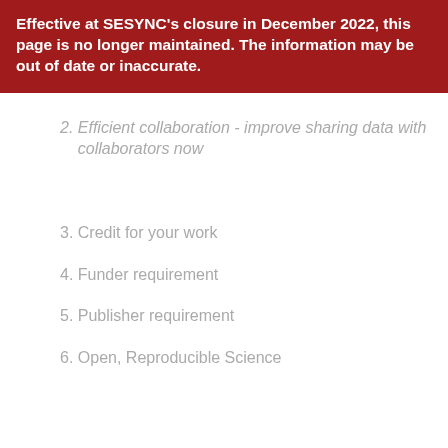Effective at SESYNC's closure in December 2022, this page is no longer maintained. The information may be out of date or inaccurate.
2. Efficient collaboration - improve sharing data with collaborators now
3. Credit for your work
4. Funder requirement
5. Publisher requirement
6. Open, Reproducible Science